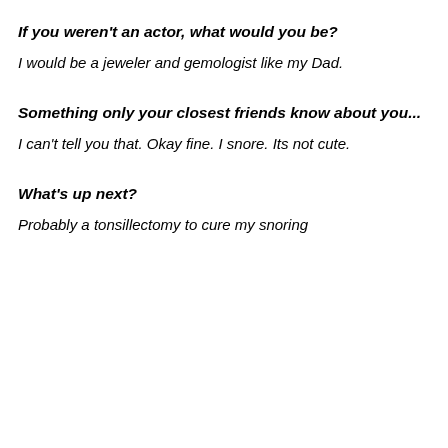If you weren't an actor, what would you be?
I would be a jeweler and gemologist like my Dad.
Something only your closest friends know about you...
I can't tell you that. Okay fine. I snore. Its not cute.
What's up next?
Probably a tonsillectomy to cure my snoring